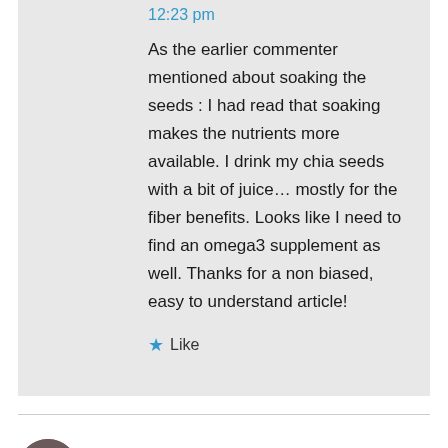12:23 pm
As the earlier commenter mentioned about soaking the seeds : I had read that soaking makes the nutrients more available. I drink my chia seeds with a bit of juice… mostly for the fiber benefits. Looks like I need to find an omega3 supplement as well. Thanks for a non biased, easy to understand article!
★ Like
Loris Ayoub on 1 Sep, 2015 at 5:47 am